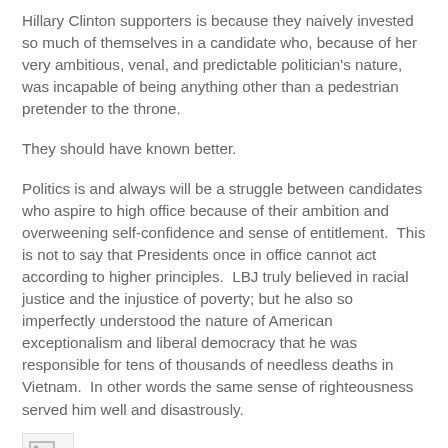Hillary Clinton supporters is because they naively invested so much of themselves in a candidate who, because of her very ambitious, venal, and predictable politician's nature, was incapable of being anything other than a pedestrian pretender to the throne.
They should have known better.
Politics is and always will be a struggle between candidates who aspire to high office because of their ambition and overweening self-confidence and sense of entitlement.  This is not to say that Presidents once in office cannot act according to higher principles.  LBJ truly believed in racial justice and the injustice of poverty; but he also so imperfectly understood the nature of American exceptionalism and liberal democracy that he was responsible for tens of thousands of needless deaths in Vietnam.  In other words the same sense of righteousness served him well and disastrously.
[Figure (other): Broken/missing image placeholder icon]